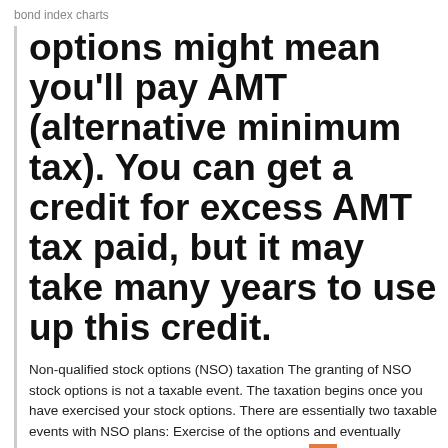bond index charts
options might mean you'll pay AMT (alternative minimum tax). You can get a credit for excess AMT tax paid, but it may take many years to use up this credit.
Non-qualified stock options (NSO) taxation The granting of NSO stock options is not a taxable event. The taxation begins once you have exercised your stock options. There are essentially two taxable events with NSO plans: Exercise of the options and eventually selling the stocks. Short-term Three Ways To Avoid Tax Problems When You Exercise Options Up A Creek. In most